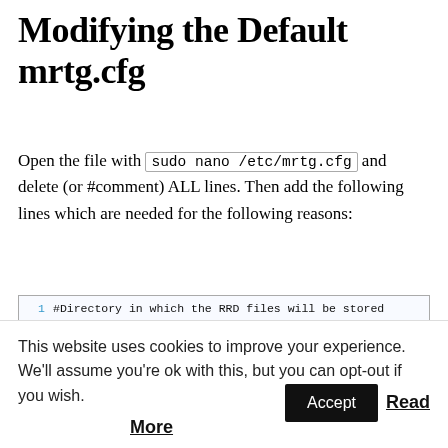Modifying the Default mrtg.cfg
Open the file with sudo nano /etc/mrtg.cfg and delete (or #comment) ALL lines. Then add the following lines which are needed for the following reasons:
[Figure (screenshot): Code block with 8 numbered lines of MRTG configuration file contents including WorkDir, LogFormat, Forks, and Include settings]
First Test (Yet Without Any
This website uses cookies to improve your experience. We'll assume you're ok with this, but you can opt-out if you wish.
Accept  Read More